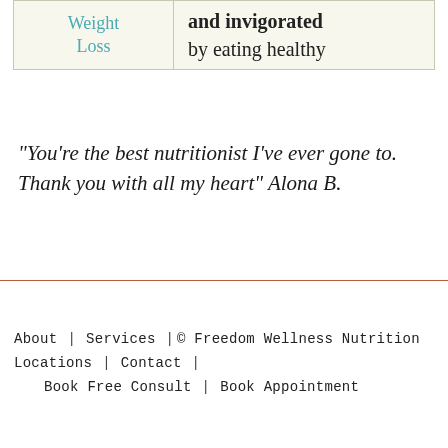| Weight Loss | and invigorated by eating healthy |
| --- | --- |
| Weight
Loss | and invigorated
by eating healthy |
"You're the best nutritionist I've ever gone to. Thank you with all my heart" Alona B.
About | Services | © Freedom Wellness Nutrition
Locations | Contact |
Book Free Consult | Book Appointment